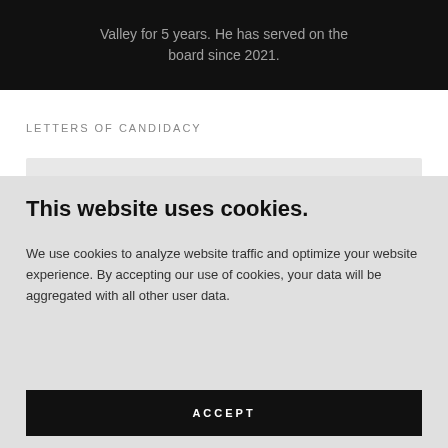Valley for 5 years. He has served on the board since 2021.
LETTERS OF CANDIDACY
This website uses cookies.
We use cookies to analyze website traffic and optimize your website experience. By accepting our use of cookies, your data will be aggregated with all other user data.
ACCEPT